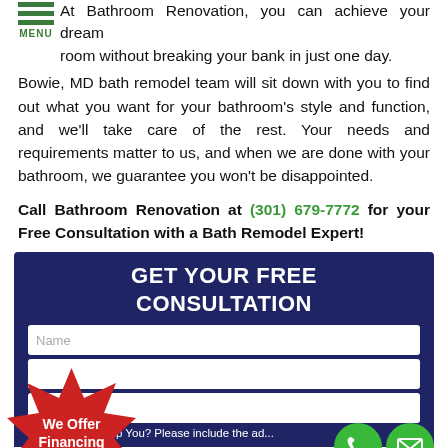At Bathroom Renovation, you can achieve your dream room without breaking your bank in just one day.
Bowie, MD bath remodel team will sit down with you to find out what you want for your bathroom's style and function, and we'll take care of the rest. Your needs and requirements matter to us, and when we are done with your bathroom, we guarantee you won't be disappointed.
Call Bathroom Renovation at (301) 679-7772 for your Free Consultation with a Bath Remodel Expert!
[Figure (infographic): Dark navy blue consultation form widget with title 'GET YOUR FREE CONSULTATION', input fields for Name and other info, a red starburst badge saying 'We Offer Financing', and green phone/email circular buttons at bottom right. Bottom text reads 'How Can We Help You? Please include the ad...']